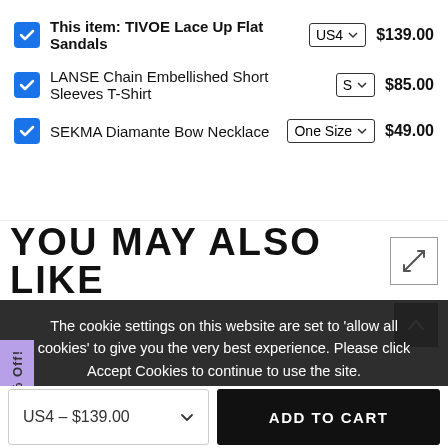This item: TIVOE Lace Up Flat Sandals  US4  $139.00
LANSE Chain Embellished Short Sleeves T-Shirt  S  $85.00
SEKMA Diamante Bow Necklace  One Size  $49.00
YOU MAY ALSO LIKE
The cookie settings on this website are set to 'allow all cookies' to give you the very best experience. Please click Accept Cookies to continue to use the site.
PRIVACY POLICY  ACCEPT ✓
Get 10% Off!
US4 – $139.00  ADD TO CART